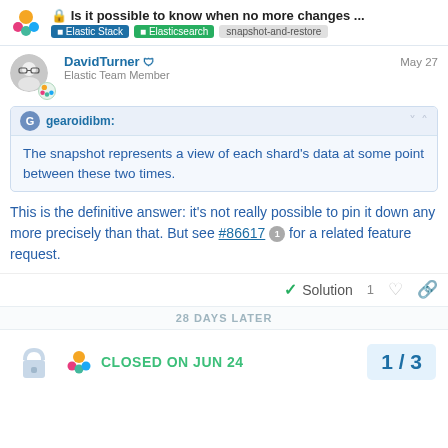Is it possible to know when no more changes ... | Elastic Stack | Elasticsearch | snapshot-and-restore
DavidTurner — Elastic Team Member — May 27
gearoidibm: The snapshot represents a view of each shard's data at some point between these two times.
This is the definitive answer: it's not really possible to pin it down any more precisely than that. But see #86617 1 for a related feature request.
✓ Solution  1  ♡  🔗
28 DAYS LATER
CLOSED ON JUN 24  1 / 3